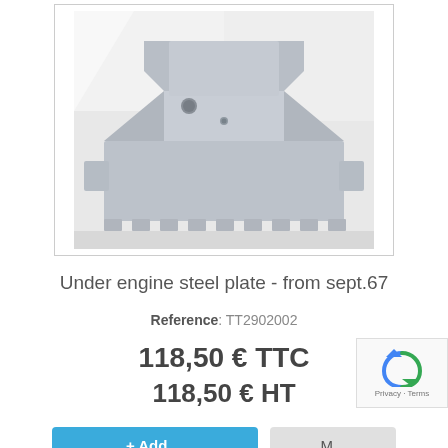[Figure (photo): A silver/grey under engine steel plate photographed against a white background. The plate is a wide flat metal component with raised sections in the middle and notches/tabs along its bottom edge.]
Under engine steel plate - from sept.67
Reference: TT2902002
118,50 € TTC
118,50 € HT